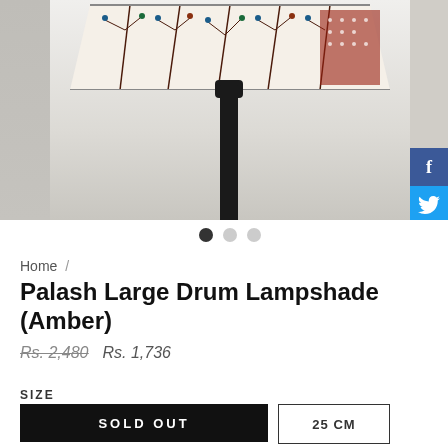[Figure (photo): Floor lamp with decorative drum lampshade featuring blue and brown floral/botanical block print pattern on white background, black metal pole, grey background]
Home /
Palash Large Drum Lampshade (Amber)
Rs. 2,480   Rs. 1,736
SIZE
SOLD OUT
25 CM